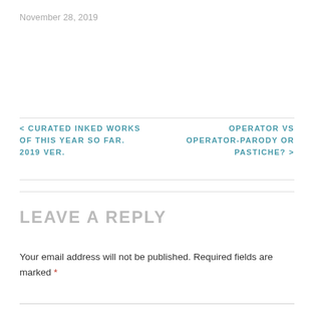November 28, 2019
< CURATED INKED WORKS OF THIS YEAR SO FAR. 2019 VER.
OPERATOR VS OPERATOR-PARODY OR PASTICHE? >
LEAVE A REPLY
Your email address will not be published. Required fields are marked *